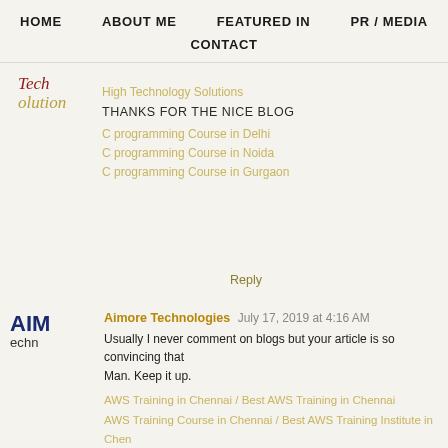HOME   ABOUT ME   FEATURED IN   PR / MEDIA   CONTACT
High Technology Solutions
THANKS FOR THE NICE BLOG
C programming Course in Delhi
C programming Course in Noida
C programming Course in Gurgaon
Reply
Aimore Technologies  July 17, 2019 at 4:16 AM
Usually I never comment on blogs but your article is so convincing that I never stop myself to say something about it. You're doing a great job Man. Keep it up.
AWS Training in Chennai / Best AWS Training in Chennai
AWS Training Course in Chennai / Best AWS Training Institute in Chennai
Reply